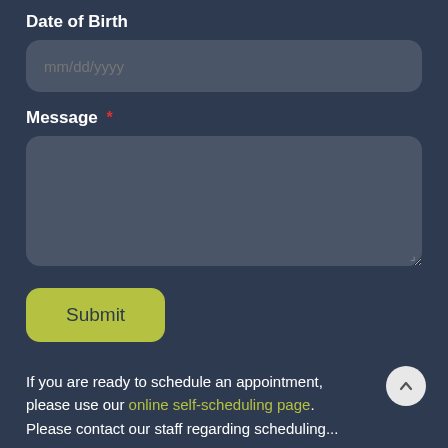Date of Birth
mm/dd/yyyy
Message *
Submit
If you are ready to schedule an appointment, please use our online self-scheduling page. Please contact our staff regarding scheduling...